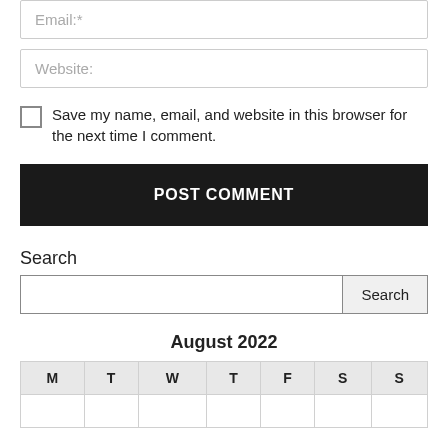Email:*
Website:
Save my name, email, and website in this browser for the next time I comment.
POST COMMENT
Search
Search
August 2022
| M | T | W | T | F | S | S |
| --- | --- | --- | --- | --- | --- | --- |
|  |  |  |  |  |  |  |